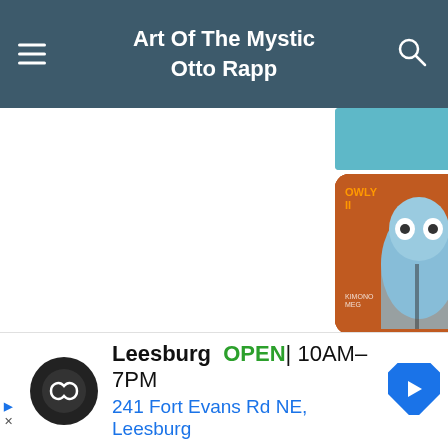Art Of The Mystic Otto Rapp
[Figure (screenshot): Grid of 8 artwork thumbnail images showing 'OWLY II' series paintings by Otto Rapp, featuring blue owl-like figures on red/orange backgrounds, arranged in a 2x4 grid]
Leesburg  OPEN  10AM–7PM
241 Fort Evans Rd NE, Leesburg